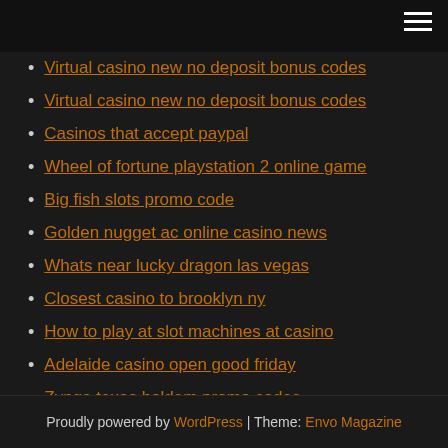Virtual casino new no deposit bonus codes
Virtual casino new no deposit bonus codes
Casinos that accept paypal
Wheel of fortune playstation 2 online game
Big fish slots promo code
Golden nugget ac online casino news
Whats near lucky dragon las vegas
Closest casino to brooklyn ny
How to play at slot machines at casino
Adelaide casino open good friday
Zynga texas holdem promo codes
Proudly powered by WordPress | Theme: Envo Magazine